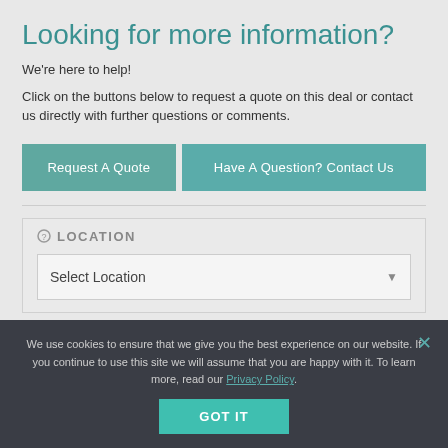Looking for more information?
We're here to help!
Click on the buttons below to request a quote on this deal or contact us directly with further questions or comments.
[Figure (other): Two teal buttons: 'Request A Quote' and 'Have A Question? Contact Us']
LOCATION
[Figure (other): A dropdown selector labeled 'Select Location']
We use cookies to ensure that we give you the best experience on our website. If you continue to use this site we will assume that you are happy with it. To learn more, read our Privacy Policy.
GOT IT